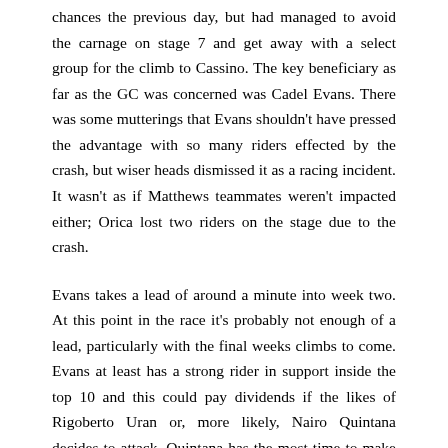chances the previous day, but had managed to avoid the carnage on stage 7 and get away with a select group for the climb to Cassino. The key beneficiary as far as the GC was concerned was Cadel Evans. There was some mutterings that Evans shouldn't have pressed the advantage with so many riders effected by the crash, but wiser heads dismissed it as a racing incident. It wasn't as if Matthews teammates weren't impacted either; Orica lost two riders on the stage due to the crash.
Evans takes a lead of around a minute into week two. At this point in the race it's probably not enough of a lead, particularly with the final weeks climbs to come. Evans at least has a strong rider in support inside the top 10 and this could pay dividends if the likes of Rigoberto Uran or, more likely, Nairo Quintana decides to attack. Quintana has the most time to make up, 1.45 back on Evans and if the places were reversed you